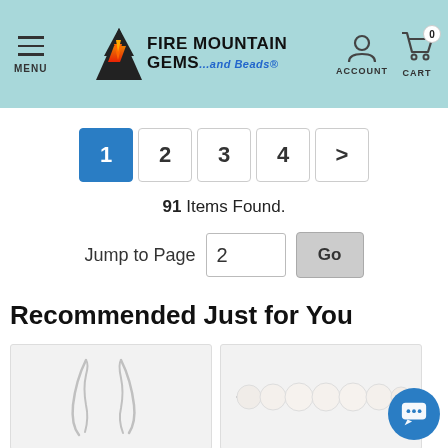MENU | FIRE MOUNTAIN GEMS and Beads | ACCOUNT | CART 0
1 2 3 4 >
91 Items Found.
Jump to Page 2 Go
Recommended Just for You
[Figure (photo): Silver wire earrings on light gray background]
[Figure (photo): Strand of white pearls on light gray background]